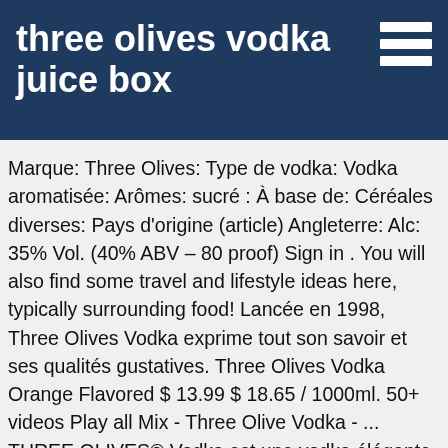three olives vodka juice box
Marque: Three Olives: Type de vodka: Vodka aromatisée: Arômes: sucré : À base de: Céréales diverses: Pays d'origine (article) Angleterre: Alc: 35% Vol. (40% ABV – 80 proof) Sign in . You will also find some travel and lifestyle ideas here, typically surrounding food! Lancée en 1998, Three Olives Vodka exprime tout son savoir et ses qualités gustatives. Three Olives Vodka Orange Flavored $ 13.99 $ 18.65 / 1000ml. 50+ videos Play all Mix - Three Olive Vodka - ... THREE OLIVES® Vodka est une vodka élégante et supérieur qui obtient son goût unique par une distillation et filtrations perfectionné à quatre reprises. . Delicious & extremely mixable vodkas meant to be part of the fun, mix things up, and add some flavor to the party. ORDER A CASE OF 12